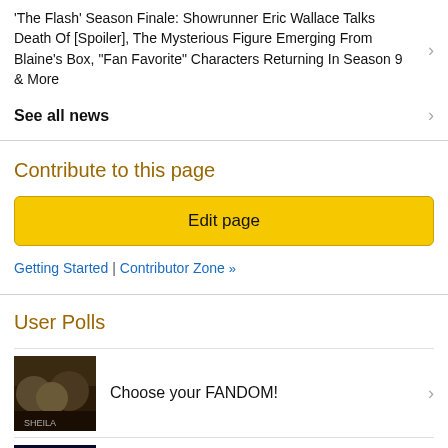'The Flash' Season Finale: Showrunner Eric Wallace Talks Death Of [Spoiler], The Mysterious Figure Emerging From Blaine's Box, "Fan Favorite" Characters Returning In Season 9 & More
See all news
Contribute to this page
Edit page
Getting Started | Contributor Zone »
User Polls
Choose your FANDOM!
Sci-fi Closing Lines